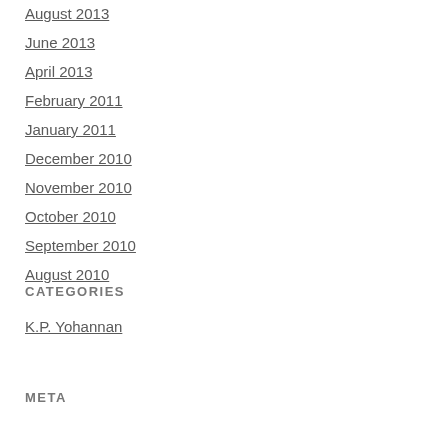August 2013
June 2013
April 2013
February 2011
January 2011
December 2010
November 2010
October 2010
September 2010
August 2010
CATEGORIES
K.P. Yohannan
META